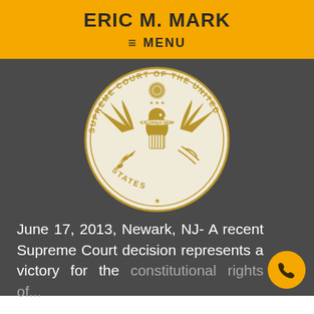ERIC M. MARK
≡ MENU
[Figure (illustration): Seal of the Supreme Court of the United States — gold and cream colored circular seal featuring the Great Seal eagle with wings spread, holding olive branch and arrows, with 'SUPREME COURT OF THE UNITED STATES' text around the border]
June 17, 2013, Newark, NJ- A recent Supreme Court decision represents a victory for the constitutional rights of...